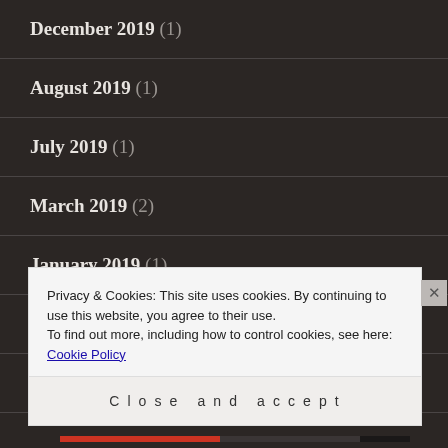December 2019 (1)
August 2019 (1)
July 2019 (1)
March 2019 (2)
January 2019 (1)
December 2018 (1)
November 2018 (2)
October 2018 (9)
Privacy & Cookies: This site uses cookies. By continuing to use this website, you agree to their use. To find out more, including how to control cookies, see here: Cookie Policy
Close and accept